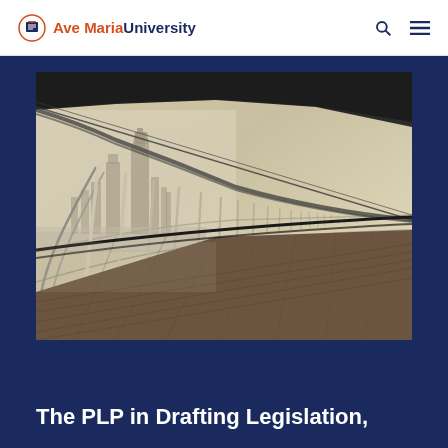Ave MariaUniversity
[Figure (photo): A curved glass-and-steel corridor/walkway with a city skyline featuring tall skyscrapers visible in the misty background, shot from a high vantage point with a wooden deck floor.]
The PLP in Drafting Legislation,